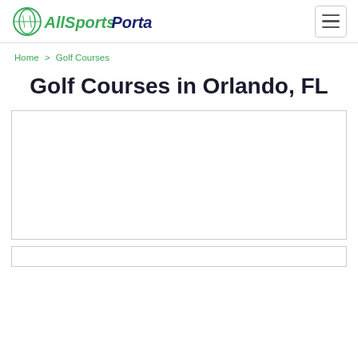AllSportsPortal [logo] [hamburger menu]
Home > Golf Courses
Golf Courses in Orlando, FL
[Figure (other): Advertisement placeholder box (empty white rectangle with border)]
[Figure (other): Advertisement placeholder box (empty white rectangle with border, partial view)]